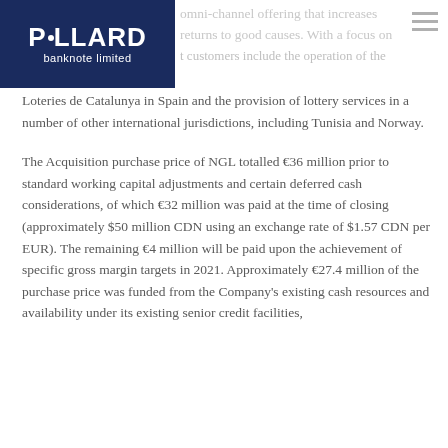POLLARD banknote limited — omni-channel offering that increases returns to good causes. With a focus on ... customers include the operation of the
Loteries de Catalunya in Spain and the provision of lottery services in a number of other international jurisdictions, including Tunisia and Norway.
The Acquisition purchase price of NGL totalled €36 million prior to standard working capital adjustments and certain deferred cash considerations, of which €32 million was paid at the time of closing (approximately $50 million CDN using an exchange rate of $1.57 CDN per EUR). The remaining €4 million will be paid upon the achievement of specific gross margin targets in 2021. Approximately €27.4 million of the purchase price was funded from the Company's existing cash resources and availability under its existing senior credit facilities, ...